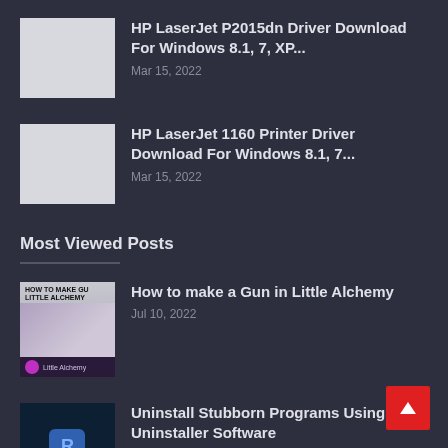HP LaserJet P2015dn Driver Download For Windows 8.1, 7, XP... — Mar 15, 2022
HP LaserJet 1160 Printer Driver Download For Windows 8.1, 7... — Mar 15, 2022
Most Viewed Posts
How to make a Gun in Little Alchemy — Jul 10, 2022
Uninstall Stubborn Programs Using Revo Uninstaller Software — Mar 28, 2022
How to make Godzilla in Little Alchemy